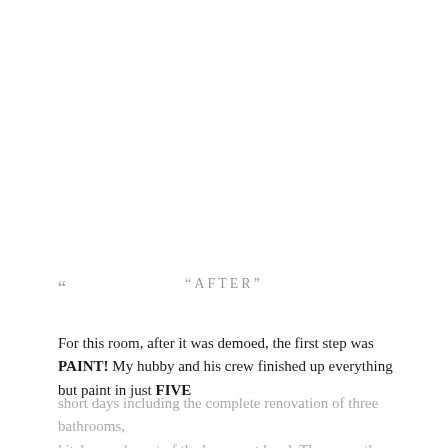“
“AFTER”
For this room, after it was demoed, the first step was PAINT!  My hubby and his crew finished up everything but paint in just FIVE short days including the complete renovation of three bathrooms, kitchen and most of the basement level.  Then over the Holidays d